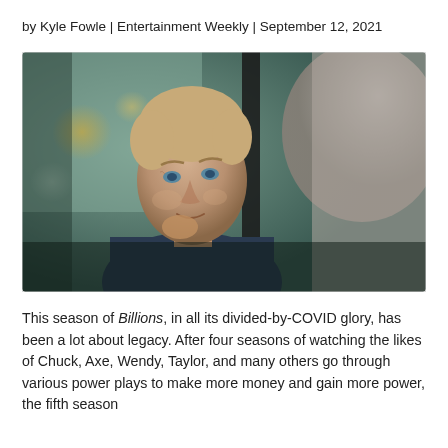by Kyle Fowle | Entertainment Weekly | September 12, 2021
[Figure (photo): A man with short blond hair sits inside a car, looking forward with a slight smile. He is wearing a dark blue t-shirt. Another person is partially visible from behind on the right side. The background shows a blurred street scene through the car window.]
This season of Billions, in all its divided-by-COVID glory, has been a lot about legacy. After four seasons of watching the likes of Chuck, Axe, Wendy, Taylor, and many others go through various power plays to make more money and gain more power, the fifth season